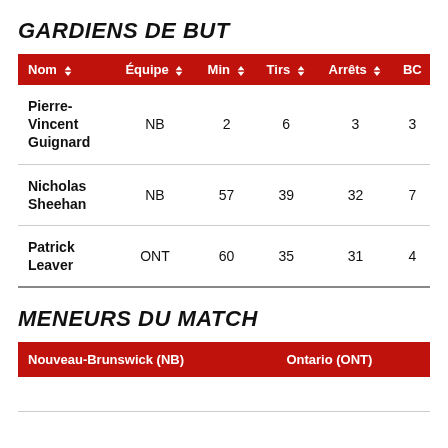GARDIENS DE BUT
| Nom | Équipe | Min | Tirs | Arrêts | BC |
| --- | --- | --- | --- | --- | --- |
| Pierre-Vincent Guignard | NB | 2 | 6 | 3 | 3 |
| Nicholas Sheehan | NB | 57 | 39 | 32 | 7 |
| Patrick Leaver | ONT | 60 | 35 | 31 | 4 |
MENEURS DU MATCH
| Nouveau-Brunswick (NB) | Ontario (ONT) |
| --- | --- |